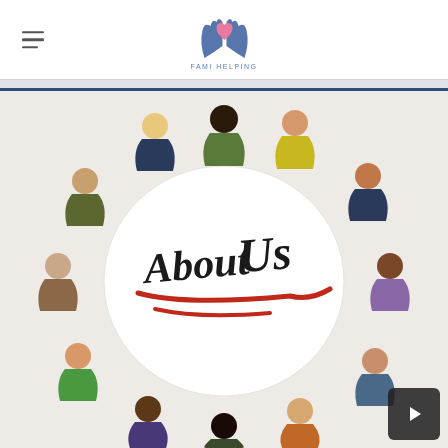FAMI HELPING (logo with hands and heart)
[Figure (photo): Aerial view of a diverse group of people holding hands around a round white table with 'About Us' written in black handwritten script with a red underline stroke. People are standing/leaning in from all sides.]